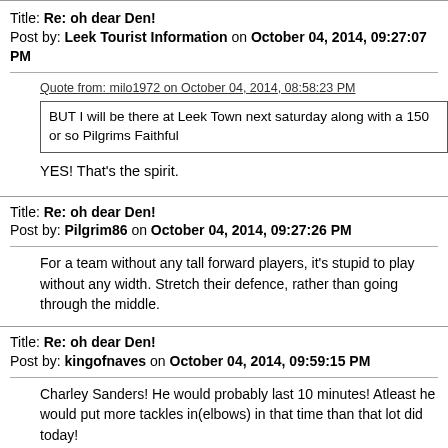Title: Re: oh dear Den!
Post by: Leek Tourist Information on October 04, 2014, 09:27:07 PM
Quote from: milo1972 on October 04, 2014, 08:58:23 PM
BUT I will be there at Leek Town next saturday along with a 150 or so Pilgrims Faithful
YES! That's the spirit.
Title: Re: oh dear Den!
Post by: Pilgrim86 on October 04, 2014, 09:27:26 PM
For a team without any tall forward players, it's stupid to play without any width. Stretch their defence, rather than going through the middle.
Title: Re: oh dear Den!
Post by: kingofnaves on October 04, 2014, 09:59:15 PM
Charley Sanders! He would probably last 10 minutes! Atleast he would put more tackles in(elbows) in that time than that lot did today!
Title: Re: oh dear Den!